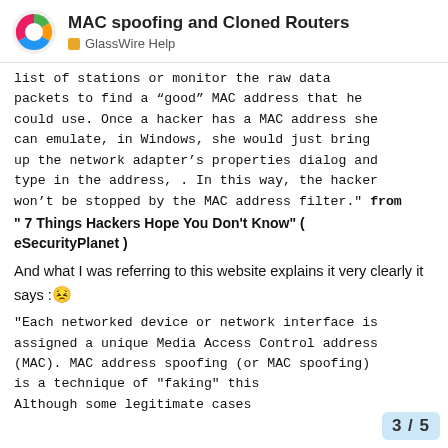MAC spoofing and Cloned Routers — GlassWire Help
list of stations or monitor the raw data packets to find a “good” MAC address that he could use. Once a hacker has a MAC address she can emulate, in Windows, she would just bring up the network adapter’s properties dialog and type in the address, . In this way, the hacker won’t be stopped by the MAC address filter." from " 7 Things Hackers Hope You Don’t Know" ( eSecurityPlanet )
And what I was referring to this website explains it very clearly it says :😣
"Each networked device or network interface is assigned a unique Media Access Control address (MAC). MAC address spoofing (or MAC spoofing) is a technique of "faking" this Although some legitimate cases
3 / 5